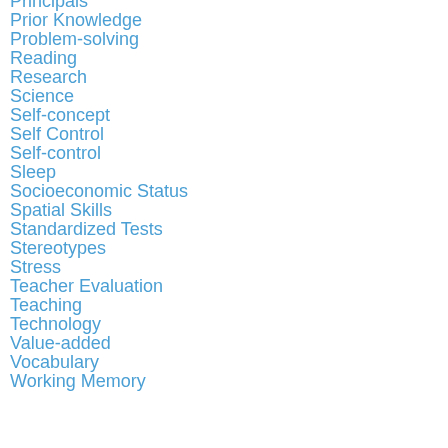Principals
Prior Knowledge
Problem-solving
Reading
Research
Science
Self-concept
Self Control
Self-control
Sleep
Socioeconomic Status
Spatial Skills
Standardized Tests
Stereotypes
Stress
Teacher Evaluation
Teaching
Technology
Value-added
Vocabulary
Working Memory